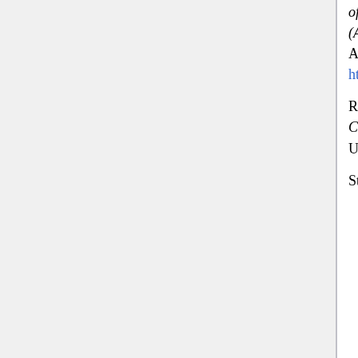of Program/Project and Engineering Leadership (APPEL), NASA APPEL Performance Enhancement. Accessed on September 15, 2011. Available at http://www.nasa.gov/offices/oce/appel/performance/index.html.
Robbins, S.P. 1998. Organizational Behavior: Concepts, Controversies, Applications, 8th Edition. Upper Saddle River, NJ, USA: Prentice Hall. p. 576.
Stephenson, J. and S. Weil. 1992. Quality in